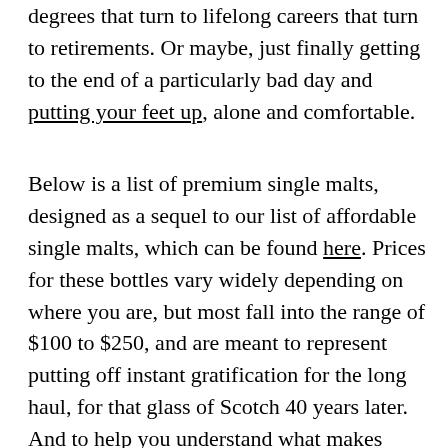degrees that turn to lifelong careers that turn to retirements. Or maybe, just finally getting to the end of a particularly bad day and putting your feet up, alone and comfortable.
Below is a list of premium single malts, designed as a sequel to our list of affordable single malts, which can be found here. Prices for these bottles vary widely depending on where you are, but most fall into the range of $100 to $250, and are meant to represent putting off instant gratification for the long haul, for that glass of Scotch 40 years later. And to help you understand what makes these single malts so spectacular, we spoke with an expert who has made a living drinking and thinking about that very question.